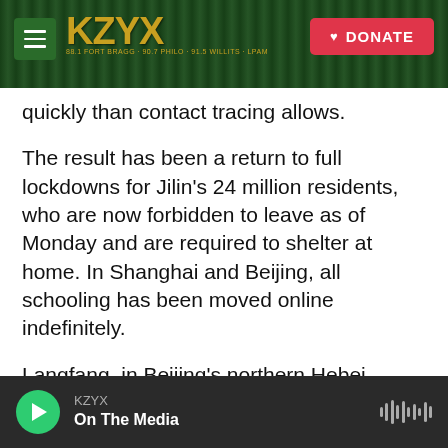KZYX radio station website header with logo and DONATE button
quickly than contact tracing allows.
The result has been a return to full lockdowns for Jilin's 24 million residents, who are now forbidden to leave as of Monday and are required to shelter at home. In Shanghai and Beijing, all schooling has been moved online indefinitely.
Langfang, in Beijing's northern Hebei province, as well as Shenzhen and Dongguan cities, in China's south, are also under lockdown as of Tuesday. Two other cities — Shanghai and Xi'an — have put in place some lockdown measures.
KZYX / On The Media